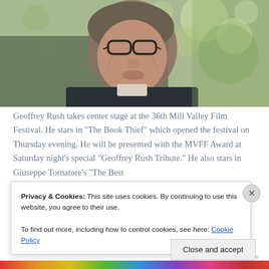[Figure (photo): Older man with glasses, grey curly hair, wearing a dark suit jacket and open-collar shirt, photographed in front of a blurred green outdoor background]
Geoffrey Rush takes center stage at the 36th Mill Valley Film Festival. He stars in “The Book Thief” which opened the festival on Thursday evening. He will be presented with the MVFF Award at Saturday night’s special “Geoffrey Rush Tribute.” He also stars in Giuseppe Tornatore’s “The Best
Privacy & Cookies: This site uses cookies. By continuing to use this website, you agree to their use.
To find out more, including how to control cookies, see here: Cookie Policy
Close and accept